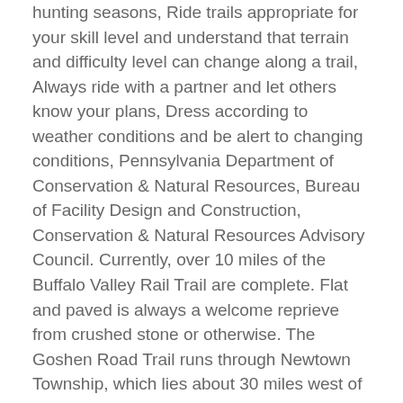hunting seasons, Ride trails appropriate for your skill level and understand that terrain and difficulty level can change along a trail, Always ride with a partner and let others know your plans, Dress according to weather conditions and be alert to changing conditions, Pennsylvania Department of Conservation & Natural Resources, Bureau of Facility Design and Construction, Conservation & Natural Resources Advisory Council. Currently, over 10 miles of the Buffalo Valley Rail Trail are complete. Flat and paved is always a welcome reprieve from crushed stone or otherwise. The Goshen Road Trail runs through Newtown Township, which lies about 30 miles west of Philadelphia. BAMBA was established in 2012 as an IMBA (International Mountain Bicycling Association) Chapter in Berks County, PA BAMBA is a non-profit educational association whose mission is to create, enhance and preserve great trail experiences for mountain bikers in Berks County, Pennsylvania. 412-490-0881. State Parks with especially popular mountain biking trails include: Please check